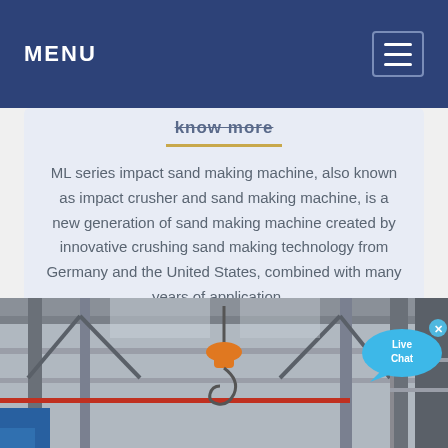MENU
know more
ML series impact sand making machine, also known as impact crusher and sand making machine, is a new generation of sand making machine created by innovative crushing sand making technology from Germany and the United States, combined with many years of application…
[Figure (photo): Industrial factory interior with overhead crane hook (orange) hanging from the ceiling structure, viewed from below showing steel beams and scaffolding.]